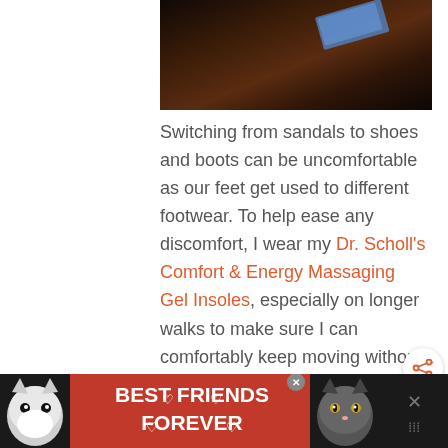[Figure (photo): Dark photo of a wooden floor surface with a partial blue object visible, cropped at top of page]
Switching from sandals to shoes and boots can be uncomfortable as our feet get used to different footwear. To help ease any discomfort, I wear my Dr. Scholl’s Comfort & Energy Massaging Gel Insoles, especially on longer walks to make sure I can comfortably keep moving without
[Figure (infographic): Red advertisement banner showing two cats (black-and-white cat faces on left and right) with text 'BEST FRIENDS FOREVER' with heart symbols in white bold font on red background, with a close X button and additional icons on the right]